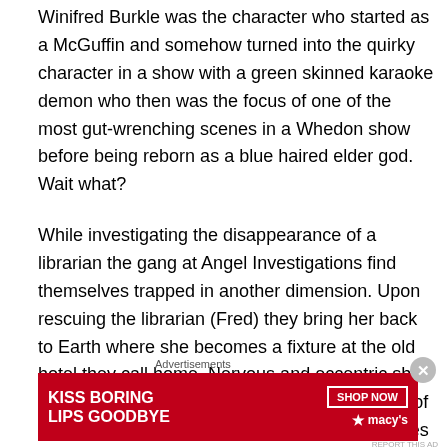Winifred Burkle was the character who started as a McGuffin and somehow turned into the quirky character in a show with a green skinned karaoke demon who then was the focus of one of the most gut-wrenching scenes in a Whedon show before being reborn as a blue haired elder god. Wait what?
While investigating the disappearance of a librarian the gang at Angel Investigations find themselves trapped in another dimension. Upon rescuing the librarian (Fred) they bring her back to Earth where she becomes a fixture at the old hotel they call home. Nervous and eccentric she does eventually find a niche and the attentions of Wesley and Gunn, and her scientific mind proves to be invaluable as a
Advertisements
[Figure (illustration): Macy's advertisement banner with red background showing a woman's face with lips highlighted. Text reads 'KISS BORING LIPS GOODBYE' on the left and 'SHOP NOW' button with Macy's star logo on the right.]